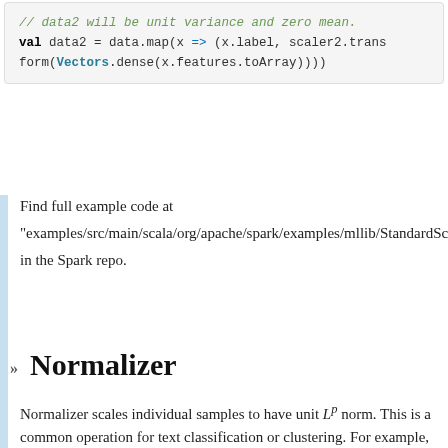// data2 will be unit variance and zero mean.
val data2 = data.map(x => (x.label, scaler2.transform(Vectors.dense(x.features.toArray))))
Find full example code at
"examples/src/main/scala/org/apache/spark/examples/mllib/StandardSc
in the Spark repo.
Normalizer
Normalizer scales individual samples to have unit L^p norm. This is a common operation for text classification or clustering. For example, the dot product of two L^2 normalized TF-IDF vectors is the cosine similarity of the vectors.
Normalizer has the following parameter in the constructor:
p Normalization in L^p space, p = 2 by default.
Normalizer implements VectorTransformer which can apply the normalization on a Vector to produce a transformed